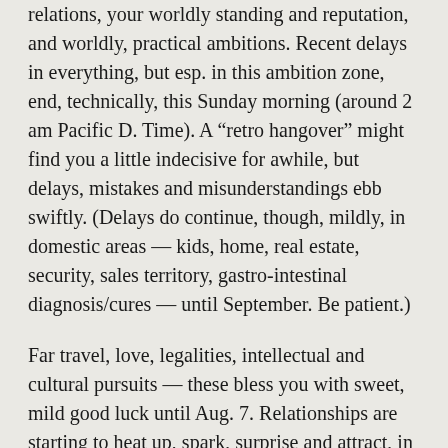relations, your worldly standing and reputation, and worldly, practical ambitions. Recent delays in everything, but esp. in this ambition zone, end, technically, this Sunday morning (around 2 am Pacific D. Time). A “retro hangover” might find you a little indecisive for awhile, but delays, mistakes and misunderstandings ebb swiftly. (Delays do continue, though, mildly, in domestic areas — kids, home, real estate, security, sales territory, gastro-intestinal diagnosis/cures — until September. Be patient.)
Far travel, love, legalities, intellectual and cultural pursuits — these bless you with sweet, mild good luck until Aug. 7. Relationships are starting to heat up, spark, surprise and attract, in love for singles, in business for marrieds. Love-wise,